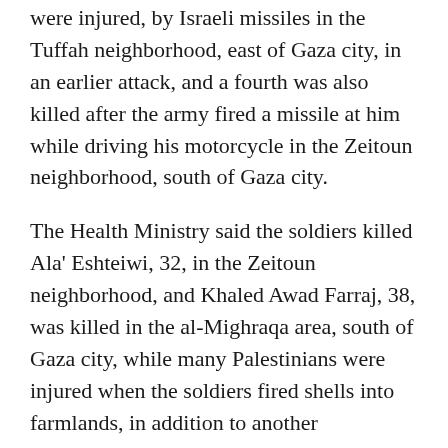were injured, by Israeli missiles in the Tuffah neighborhood, east of Gaza city, in an earlier attack, and a fourth was also killed after the army fired a missile at him while driving his motorcycle in the Zeitoun neighborhood, south of Gaza city.
The Health Ministry said the soldiers killed Ala' Eshteiwi, 32, in the Zeitoun neighborhood, and Khaled Awad Farraj, 38, was killed in the al-Mighraqa area, south of Gaza city, while many Palestinians were injured when the soldiers fired shells into farmlands, in addition to another Palestinian who was injured by Israeli shells in a playground in the Zeitoun neighborhood.
The soldiers also fired many shells into farmlands, east of the al-Boreij refugee camp, in central Gaza